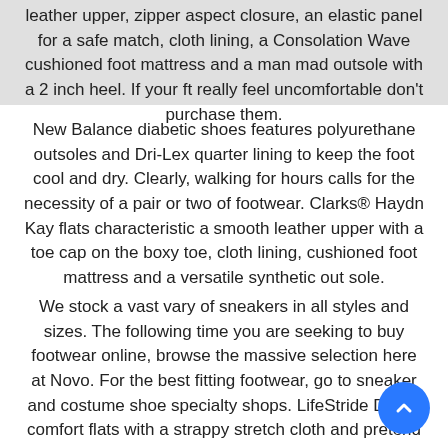leather upper, zipper aspect closure, an elastic panel for a safe match, cloth lining, a Consolation Wave cushioned foot mattress and a man mad outsole with a 2 inch heel. If your ft really feel uncomfortable don't purchase them.
New Balance diabetic shoes features polyurethane outsoles and Dri-Lex quarter lining to keep the foot cool and dry. Clearly, walking for hours calls for the necessity of a pair or two of footwear. Clarks® Haydn Kay flats characteristic a smooth leather upper with a toe cap on the boxy toe, cloth lining, cushioned foot mattress and a versatile synthetic out sole.
We stock a vast vary of sneakers in all styles and sizes. The following time you are seeking to buy footwear online, browse the massive selection here at Novo. For the best fitting footwear, go to sneaker and costume shoe specialty shops. LifeStride Daisie comfort flats with a strappy stretch cloth and pretend leather-based higher,